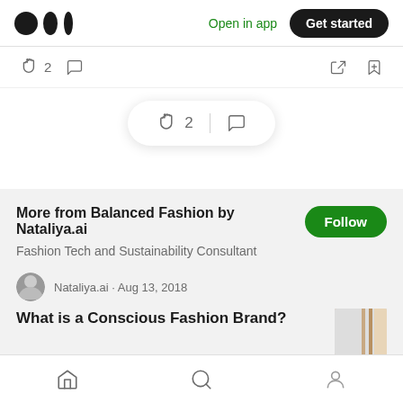Medium logo | Open in app | Get started
👏 2  💬
[Figure (infographic): Floating pill with clapping and comment icons: 👏 2 | 💬]
More from Balanced Fashion by Nataliya.ai
Fashion Tech and Sustainability Consultant
Nataliya.ai · Aug 13, 2018
What is a Conscious Fashion Brand?
Home | Search | Profile